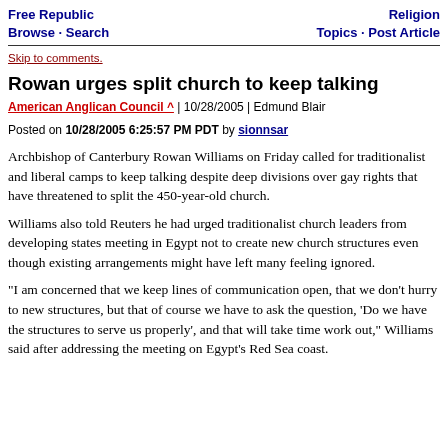Free Republic Browse · Search | Religion Topics · Post Article
Skip to comments.
Rowan urges split church to keep talking
American Anglican Council ^ | 10/28/2005 | Edmund Blair
Posted on 10/28/2005 6:25:57 PM PDT by sionnsar
Archbishop of Canterbury Rowan Williams on Friday called for traditionalist and liberal camps to keep talking despite deep divisions over gay rights that have threatened to split the 450-year-old church.
Williams also told Reuters he had urged traditionalist church leaders from developing states meeting in Egypt not to create new church structures even though existing arrangements might have left many feeling ignored.
"I am concerned that we keep lines of communication open, that we don't hurry to new structures, but that of course we have to ask the question, 'Do we have the structures to serve us properly', and that will take time work out," Williams said after addressing the meeting on Egypt's Red Sea coast.